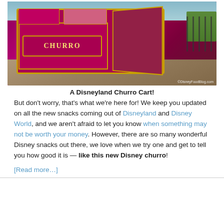[Figure (photo): A Disneyland churro cart with red and gold decorations, labeled 'CHURRO', photographed outdoors at a Disney park. Watermark: ©DisneyFoodBlog.com]
A Disneyland Churro Cart!
But don't worry, that's what we're here for! We keep you updated on all the new snacks coming out of Disneyland and Disney World, and we aren't afraid to let you know when something may not be worth your money. However, there are so many wonderful Disney snacks out there, we love when we try one and get to tell you how good it is — like this new Disney churro!
[Read more…]